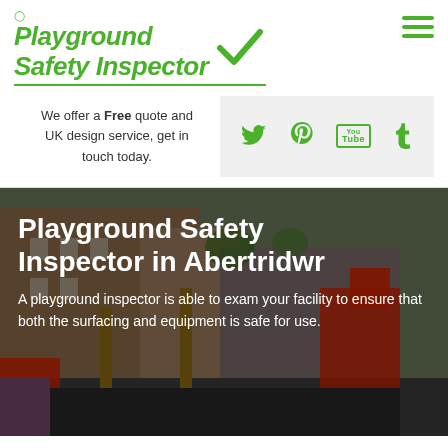[Figure (logo): Playground Safety Inspector logo with green italic bold text, checkmark, and pin icon]
We offer a Free quote and UK design service, get in touch today.
[Figure (infographic): Social media icons: Twitter bird, Pinterest P, YouTube box, Tumblr t — all in green on grey background]
[Figure (photo): Outdoor playground with red equipment, wooden structures, and brick building in background]
Playground Safety Inspector in Abertridwr
A playground inspector is able to exam your facility to ensure that both the surfacing and equipment is safe for use.